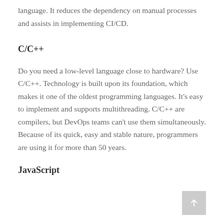language. It reduces the dependency on manual processes and assists in implementing CI/CD.
C/C++
Do you need a low-level language close to hardware? Use C/C++. Technology is built upon its foundation, which makes it one of the oldest programming languages. It's easy to implement and supports multithreading. C/C++ are compilers, but DevOps teams can't use them simultaneously. Because of its quick, easy and stable nature, programmers are using it for more than 50 years.
JavaScript